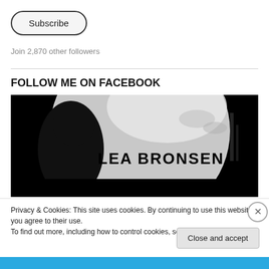Subscribe
Join 2,870 other followers
FOLLOW ME ON FACEBOOK
[Figure (photo): Black and white Facebook profile banner image for Lea Bronsen, showing a circular logo with a dark silhouette on the left and the text 'LEA BRONSEN' in bold black letters on a light background with decorative floral elements]
Privacy & Cookies: This site uses cookies. By continuing to use this website, you agree to their use.
To find out more, including how to control cookies, see here: Cookie Policy
Close and accept